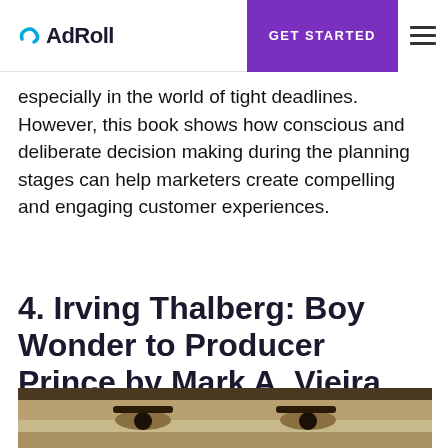AdRoll | GET STARTED
especially in the world of tight deadlines. However, this book shows how conscious and deliberate decision making during the planning stages can help marketers create compelling and engaging customer experiences.
4. Irving Thalberg: Boy Wonder to Producer Prince by Mark A. Vieira
[Figure (photo): Close-up sepia-toned photograph showing the eyes and upper face of a person, cropped tightly.]